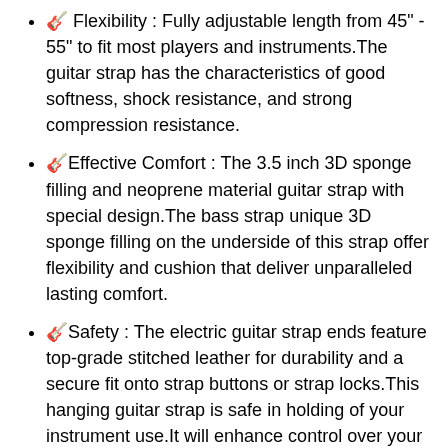🎸 Flexibility : Fully adjustable length from 45" - 55" to fit most players and instruments.The guitar strap has the characteristics of good softness, shock resistance, and strong compression resistance.
🎸 Effective Comfort : The 3.5 inch 3D sponge filling and neoprene material guitar strap with special design.The bass strap unique 3D sponge filling on the underside of this strap offer flexibility and cushion that deliver unparalleled lasting comfort.
🎸 Safety : The electric guitar strap ends feature top-grade stitched leather for durability and a secure fit onto strap buttons or strap locks.This hanging guitar strap is safe in holding of your instrument use.It will enhance control over your instrument.